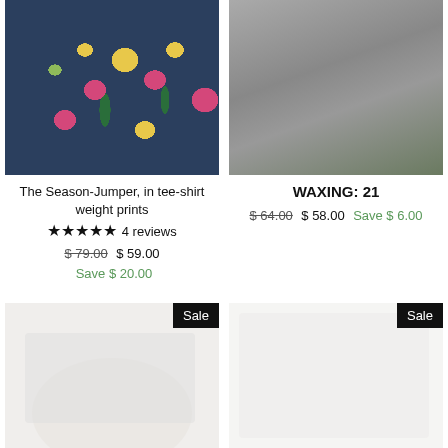[Figure (photo): Floral print navy jumper/top with colorful flowers, cropped view]
The Season-Jumper, in tee-shirt weight prints
★★★★★ 4 reviews
$ 79.00  $ 59.00
Save $ 20.00
[Figure (photo): Dark gray/black garment outdoors on grass, partially visible]
WAXING: 21
$ 64.00  $ 58.00  Save $ 6.00
[Figure (photo): Light colored product on white background, bottom left item]
Sale
[Figure (photo): Light colored product on white background, bottom right item]
Sale